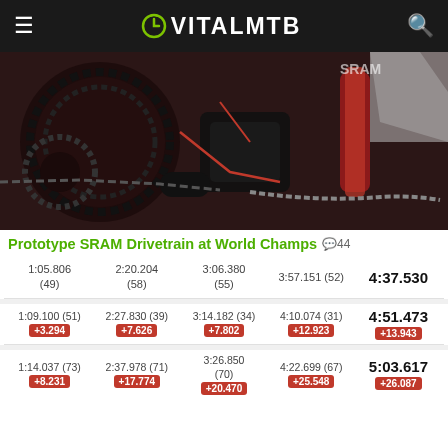VITALMTB
[Figure (photo): Close-up photo of a prototype SRAM drivetrain on a mountain bike showing chainrings, rear derailleur, chain, and red suspension components]
Prototype SRAM Drivetrain at World Champs  💬44
| Split 1 | Split 2 | Split 3 | Split 4 | Final |
| --- | --- | --- | --- | --- |
| 1:05.806 (49) | 2:20.204 (58) | 3:06.380 (55) | 3:57.151 (52) | 4:37.530 |
| 1:09.100 (51) +3.294 | 2:27.830 (39) +7.626 | 3:14.182 (34) +7.802 | 4:10.074 (31) +12.923 | 4:51.473 +13.943 |
| 1:14.037 (73) +8.231 | 2:37.978 (71) +17.774 | 3:26.850 (70) +20.470 | 4:22.699 (67) +25.548 | 5:03.617 +26.087 |